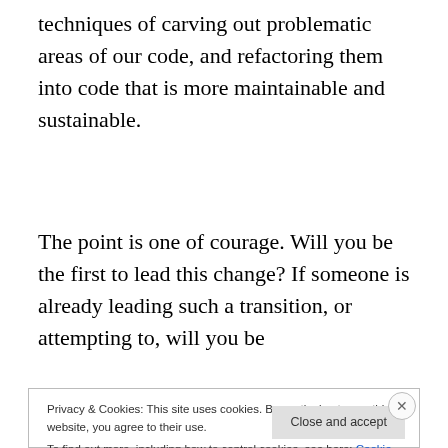techniques of carving out problematic areas of our code, and refactoring them into code that is more maintainable and sustainable.
The point is one of courage. Will you be the first to lead this change? If someone is already leading such a transition, or attempting to, will you be
Privacy & Cookies: This site uses cookies. By continuing to use this website, you agree to their use.
To find out more, including how to control cookies, see here: Cookie Policy